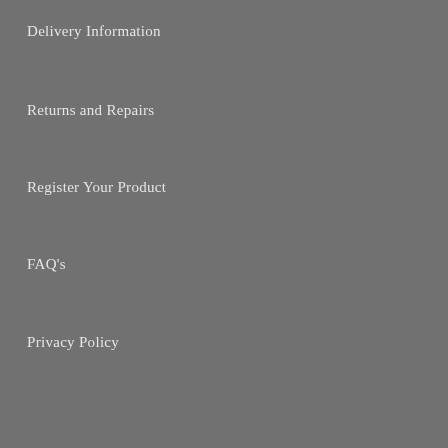Delivery Information
Returns and Repairs
Register Your Product
FAQ's
Privacy Policy
ABOUT US
About Us
Corporate Gifting
Our Recycled Fabrics
Sustainability Statement
What is RFID?
Our Blog